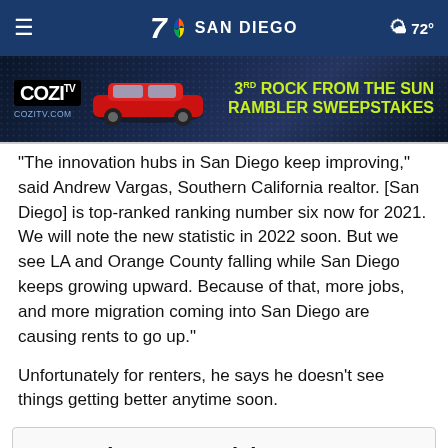7 NBC SAN DIEGO  72°
[Figure (screenshot): COZI TV advertisement banner: '3RD ROCK FROM THE SUN RAMBLER SWEEPSTAKES' with a red car on dark blue background. URL: COZITV.COM]
The innovation hubs in San Diego keep improving," said Andrew Vargas, Southern California realtor. [San Diego] is top-ranked ranking number six now for 2021. We will note the new statistic in 2022 soon. But we see LA and Orange County falling while San Diego keeps growing upward. Because of that, more jobs, and more migration coming into San Diego are causing rents to go up."
Unfortunately for renters, he says he doesn't see things getting better anytime soon.
Rent Prices Keep Rising—Here Are